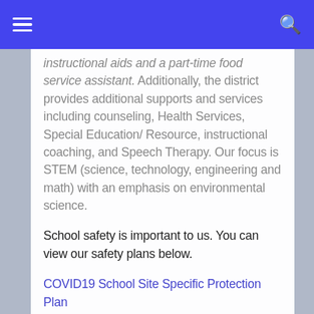instructional aids and a part-time food service assistant. Additionally, the district provides additional supports and services including counseling, Health Services, Special Education/ Resource, instructional coaching, and Speech Therapy. Our focus is STEM (science, technology, engineering and math) with an emphasis on environmental science.
School safety is important to us. You can view our safety plans below.
COVID19 School Site Specific Protection Plan